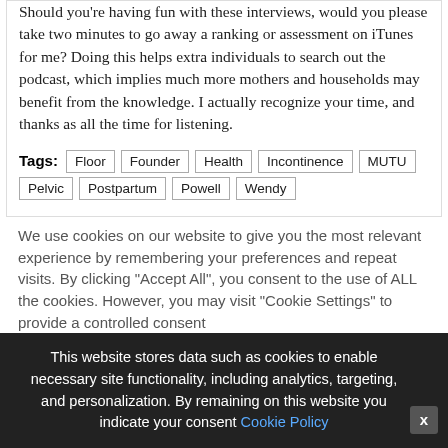Should you're having fun with these interviews, would you please take two minutes to go away a ranking or assessment on iTunes for me? Doing this helps extra individuals to search out the podcast, which implies much more mothers and households may benefit from the knowledge. I actually recognize your time, and thanks as all the time for listening.
Tags: Floor Founder Health Incontinence MUTU Pelvic Postpartum Powell Wendy
We use cookies on our website to give you the most relevant experience by remembering your preferences and repeat visits. By clicking "Accept All", you consent to the use of ALL the cookies. However, you may visit "Cookie Settings" to provide a controlled consent
This website stores data such as cookies to enable necessary site functionality, including analytics, targeting, and personalization. By remaining on this website you indicate your consent Cookie Policy